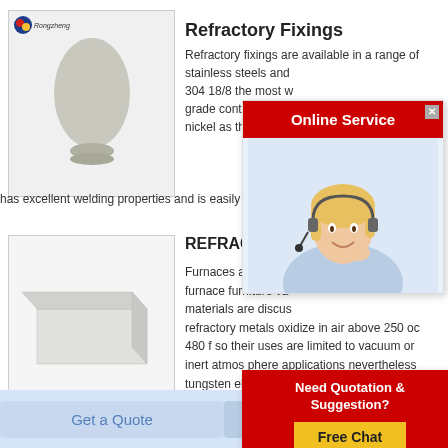[Figure (photo): Product photo: white powder or solid ceramic material shaped like an egg/dome on a pedestal, with Rongzheng logo in top-left corner]
Refractory Fixings
Refractory fixings are available in a range of stainless steels and 304 18/8 the most w grade containing ty nickel as the main a has excellent welding properties and is easily formed a
[Figure (photo): Product photo: white rectangular box-shaped refractory block, shown in perspective view]
REFRACTORY
Furnaces as eleme furnace furniture va materials are discus refractory metals oxidize in air above 250 oc 480 f so their uses are limited to vacuum or inert atmos phere applications nevertheless tungsten elements can be used up to 2800oc
[Figure (screenshot): Online Service popup with red header, woman customer service agent with headset]
[Figure (screenshot): Need Quotation & Suggestion popup with red background and Free Chat yellow button]